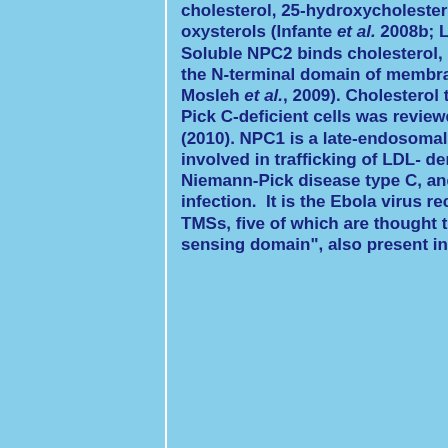cholesterol, 25-hydroxycholesterol and various oxysterols (Infante et al. 2008b; Liu et al., 2009 ). Soluble NPC2 binds cholesterol, and then passes it to the N-terminal domain of membranous NPC1 (Abi-Mosleh et al., 2009). Cholesterol trafficking in Niemann-Pick C-deficient cells was reviewed by Peake and Vance (2010). NPC1 is a late-endosomal membrane protein involved in trafficking of LDL- derived cholesterol, Niemann-Pick disease type C, and Ebola virus infection.  It is the Ebola virus receptor. It contains 13 TMSs, five of which are thought to represent a "sterol-sensing domain", also present in other key regulatory